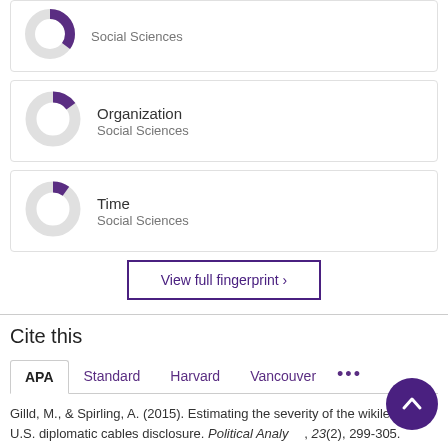[Figure (donut-chart): Partial donut chart for Social Sciences (top, cropped)]
[Figure (donut-chart): Donut chart for Organization - Social Sciences, approximately 40% filled in purple]
[Figure (donut-chart): Donut chart for Time - Social Sciences, approximately 35% filled in purple]
View full fingerprint ›
Cite this
APA Standard Harvard Vancouver •••
Gilld, M., & Spirling, A. (2015). Estimating the severity of the wikileaks U.S. diplomatic cables disclosure. Political Analysis, 23(2), 299-305. [mpv005].